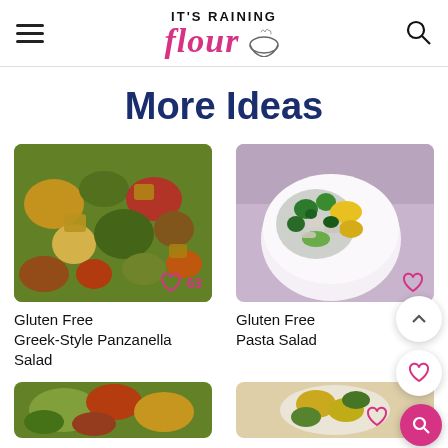It's Raining Flour - website header with logo, hamburger menu, and search icon
More Ideas
[Figure (photo): Gluten Free Greek-Style Panzanella Salad - colorful vegetable salad with bread cubes, tomatoes, green beans, squash]
Gluten Free Greek-Style Panzanella Salad
[Figure (photo): Gluten Free Pasta Salad - penne pasta with broccoli, zucchini, yellow peppers in a white bowl]
Gluten Free Pasta Salad
[Figure (photo): Partial view of a salad dish at bottom left]
[Figure (photo): Partial view of a dish at bottom right]